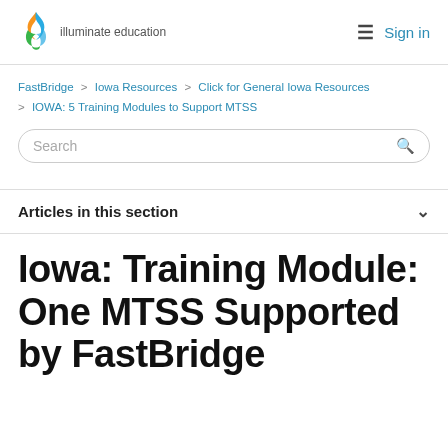illuminate education | Sign in
FastBridge > Iowa Resources > Click for General Iowa Resources > IOWA: 5 Training Modules to Support MTSS
Search
Articles in this section
Iowa: Training Module: One MTSS Supported by FastBridge